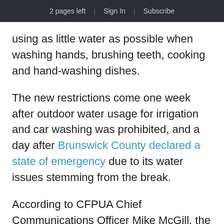2 pages left | Sign In | Subscribe
using as little water as possible when washing hands, brushing teeth, cooking and hand-washing dishes.
The new restrictions come one week after outdoor water usage for irrigation and car washing was prohibited, and a day after Brunswick County declared a state of emergency due to its water issues stemming from the break.
According to CFPUA Chief Communications Officer Mike McGill, the restrictions have started